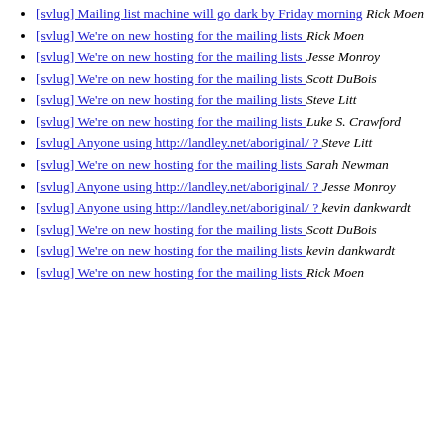[svlug] Mailing list machine will go dark by Friday morning  Rick Moen
[svlug] We're on new hosting for the mailing lists  Rick Moen
[svlug] We're on new hosting for the mailing lists  Jesse Monroy
[svlug] We're on new hosting for the mailing lists  Scott DuBois
[svlug] We're on new hosting for the mailing lists  Steve Litt
[svlug] We're on new hosting for the mailing lists  Luke S. Crawford
[svlug] Anyone using http://landley.net/aboriginal/ ?  Steve Litt
[svlug] We're on new hosting for the mailing lists  Sarah Newman
[svlug] Anyone using http://landley.net/aboriginal/ ?  Jesse Monroy
[svlug] Anyone using http://landley.net/aboriginal/ ?  kevin dankwardt
[svlug] We're on new hosting for the mailing lists  Scott DuBois
[svlug] We're on new hosting for the mailing lists  kevin dankwardt
[svlug] We're on new hosting for the mailing lists  Rick Moen